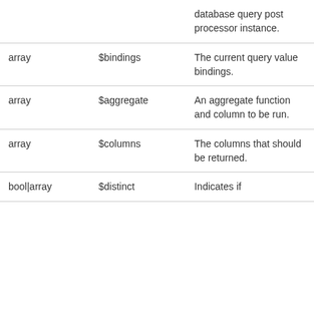| Type | Parameter | Description |
| --- | --- | --- |
|  |  | database query post processor instance. |
| array | $bindings | The current query value bindings. |
| array | $aggregate | An aggregate function and column to be run. |
| array | $columns | The columns that should be returned. |
| bool|array | $distinct | Indicates if |